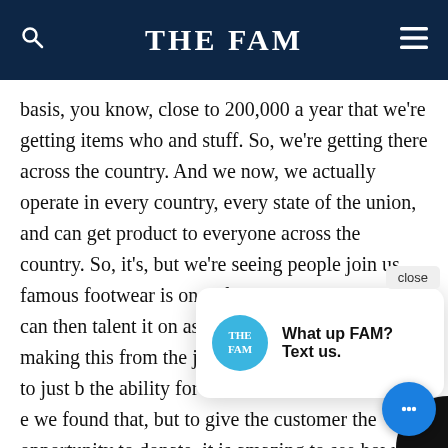THE FAM
basis, you know, close to 200,000 a year that we're getting items who and stuff. So, we're getting there across the country. And we now, we actually operate in every country, every state of the union, and can get product to everyone across the country. So, it's, but we're seeing people join us famous footwear is one of our new hitters and we can then talent it on as a nation bought into th of making this from the just at the checkout counter, to just b the ability for and this is What amazed me e we found that, but to give the customer the opportunity to donate, it is amazing to see how
[Figure (screenshot): Chat popup with THE FAM logo circle and text 'What up FAM? Text us.' with a close button, and a blue chat bubble button in the bottom right corner.]